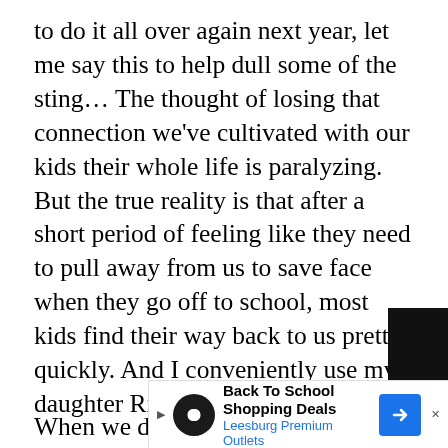to do it all over again next year, let me say this to help dull some of the sting… The thought of losing that connection we've cultivated with our kids their whole life is paralyzing. But the true reality is that after a short period of feeling like they need to pull away from us to save face when they go off to school, most kids find their way back to us pretty quickly. And I conveniently use my daughter Riley as the perfect exa...
[Figure (screenshot): Video player error overlay on black background showing a play arrow icon and text: 'The video cannot be played in this browser. (Error Code: 242632)']
When we dropped... she did exactly wha... less radio silent for... even though it stung like hell, we knew it was a combi... g not to sho... low
[Figure (screenshot): Advertisement banner: 'Back To School Shopping Deals' from Leesburg Premium Outlets with infinity logo and blue arrow navigation icon]